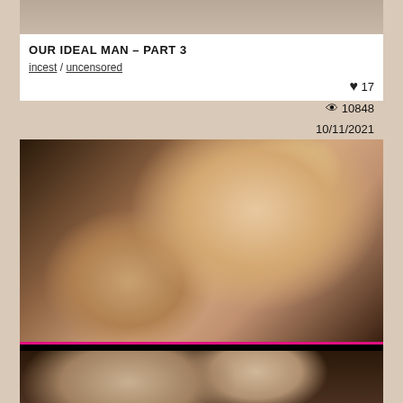[Figure (photo): Partial top image of video thumbnail]
OUR IDEAL MAN - PART 3
incest / uncensored
♥ 17
👁 10848
10/11/2021
[Figure (photo): Adult content advertisement photo with FapCandy banner: CLICK, CHAT, FAP]
[Figure (photo): Partial bottom thumbnail showing animated/3D characters]